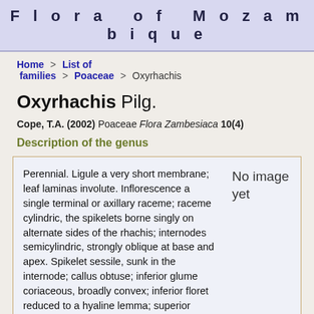Flora of Mozambique
Home > List of families > Poaceae > Oxyrhachis
Oxyrhachis Pilg.
Cope, T.A. (2002) Poaceae Flora Zambesiaca 10(4)
Description of the genus
Perennial. Ligule a very short membrane; leaf laminas involute. Inflorescence a single terminal or axillary raceme; raceme cylindric, the spikelets borne singly on alternate sides of the rhachis; internodes semicylindric, strongly oblique at base and apex. Spikelet sessile, sunk in the internode; callus obtuse; inferior glume coriaceous, broadly convex; inferior floret reduced to a hyaline lemma; superior lemma entire and awnless. Caryopsis oblong-elliptic, dorsally
No image yet